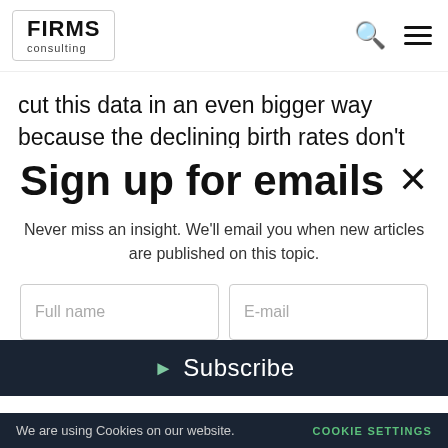FIRMS consulting
cut this data in an even bigger way because the declining birth rates don't mean the same thing for
Sign up for emails
Never miss an insight. We'll email you when new articles are published on this topic.
Full name
E-mail
Subscribe
We are using Cookies on our website.   COOKIE SETTINGS